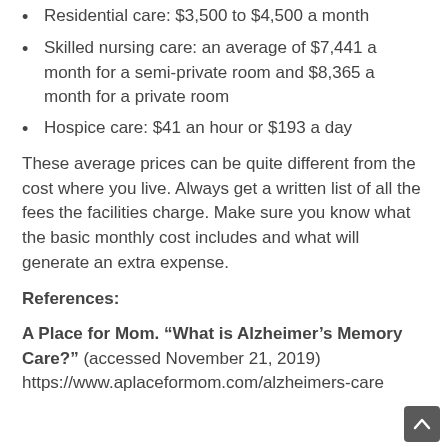Residential care: $3,500 to $4,500 a month
Skilled nursing care: an average of $7,441 a month for a semi-private room and $8,365 a month for a private room
Hospice care: $41 an hour or $193 a day
These average prices can be quite different from the cost where you live. Always get a written list of all the fees the facilities charge. Make sure you know what the basic monthly cost includes and what will generate an extra expense.
References:
A Place for Mom. “What is Alzheimer’s Memory Care?” (accessed November 21, 2019) https://www.aplaceformom.com/alzheimers-care